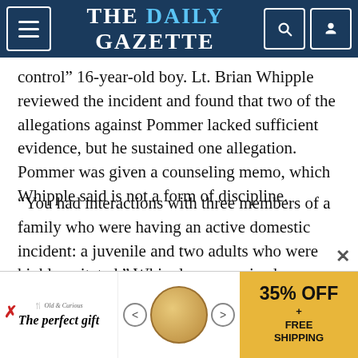THE DAILY GAZETTE
control" 16-year-old boy. Lt. Brian Whipple reviewed the incident and found that two of the allegations against Pommer lacked sufficient evidence, but he sustained one allegation. Pommer was given a counseling memo, which Whipple said is not a form of discipline.
“You had interactions with three members of a family who were having an active domestic incident: a juvenile and two adults who were highly agitated,” Whipple summarized. “During these interactions you became unprofessional, and you stated to the juvenile ‘your dad’s an (expletive) and whoever the (expletive) that lady is, I want to smack her in the mouth! Your
[Figure (other): Advertisement banner: 'The perfect gift' with food product image and '35% OFF + FREE SHIPPING']